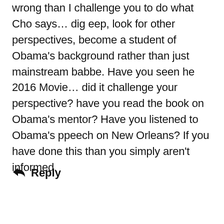wrong than I challenge you to do what Cho says… dig eep, look for other perspectives, become a student of Obama's background rather than just mainstream babbe. Have you seen he 2016 Movie… did it challenge your perspective? have you read the book on Obama's mentor? Have you listened to Obama's ppeech on New Orleans? If you have done this than you simply aren't informed.
Reply